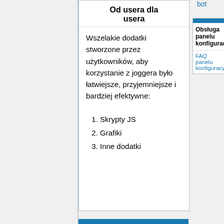bot
Od usera dla usera
Wszelakie dodatki stworzone przez użytkowników, aby korzystanie z joggera było łatwiejsze, przyjemniejsze i bardziej efektywne:
1. Skrypty JS
2. Grafiki
3. Inne dodatki
Obsługa panelu konfiguracyjnego
FAQ panelu konfiguracyjnego